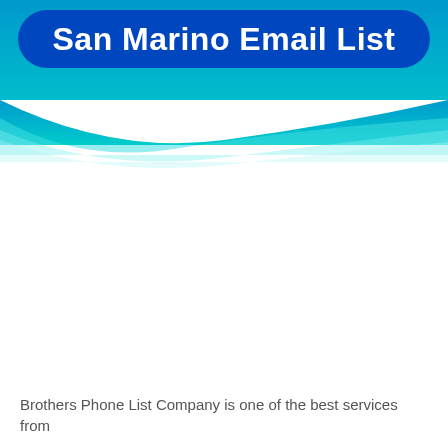San Marino Email List
Brothers Phone List Company is one of the best services from